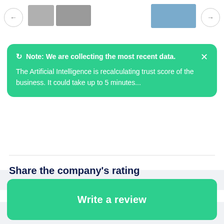[Figure (screenshot): Navigation arrows and thumbnail image strip at top]
Note: We are collecting the most recent data. The Artificial Intelligence is recalculating trust score of the business. It could take up to 5 minutes...
Share the company's rating
[Figure (infographic): Social share icons: Facebook, LinkedIn, Twitter]
Write a review